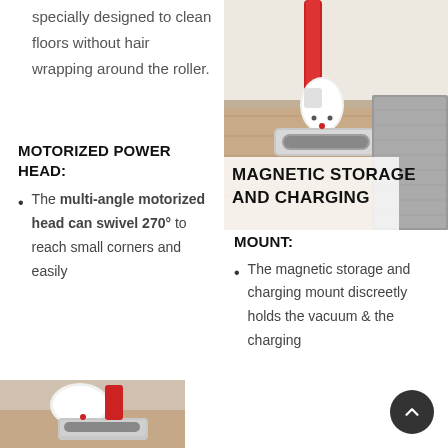specially designed to clean floors without hair wrapping around the roller.
MOTORIZED POWER HEAD:
The multi-angle motorized head can swivel 270° to reach small corners and easily…
[Figure (photo): Photo of a vacuum cleaner head attachment near a wall on hardwood floor, partially covered by grey carpet]
MAGNETIC STORAGE AND CHARGING MOUNT:
The magnetic storage and charging mount discreetly holds the vacuum & the charging
[Figure (photo): Partial photo of vacuum cleaner attachment at the bottom left]